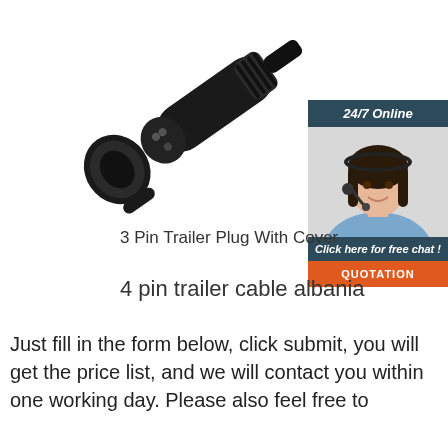[Figure (photo): Black 3-pin trailer plug with cover, showing connector end and barrel body on white background]
[Figure (photo): Customer service representative woman with headset smiling, used in 24/7 online chat widget]
3 Pin Trailer Plug With Cover
4 pin trailer cable albania
Just fill in the form below, click submit, you will get the price list, and we will contact you within one working day. Please also feel free to